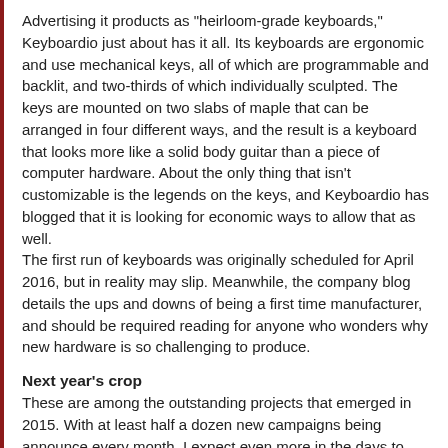Advertising it products as "heirloom-grade keyboards," Keyboardio just about has it all. Its keyboards are ergonomic and use mechanical keys, all of which are programmable and backlit, and two-thirds of which individually sculpted. The keys are mounted on two slabs of maple that can be arranged in four different ways, and the result is a keyboard that looks more like a solid body guitar than a piece of computer hardware. About the only thing that isn't customizable is the legends on the keys, and Keyboardio has blogged that it is looking for economic ways to allow that as well.
The first run of keyboards was originally scheduled for April 2016, but in reality may slip. Meanwhile, the company blog details the ups and downs of being a first time manufacturer, and should be required reading for anyone who wonders why new hardware is so challenging to produce.
Next year's crop
These are among the outstanding projects that emerged in 2015. With at least half a dozen new campaigns being announce every month, I expect even more in the days to come, especially if these ones are successful.  The combination of free software and crowdfunding is one of the main reasons that 2016 promises to be one of the most interesting years for some while.